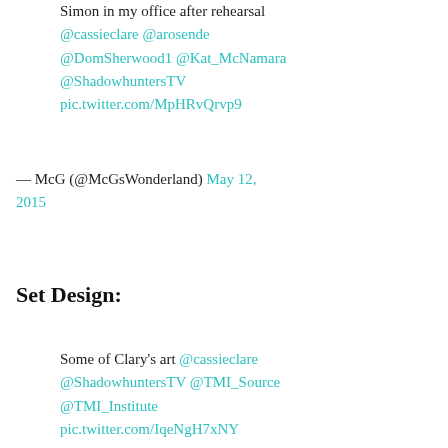Simon in my office after rehearsal @cassieclare @arosende @DomSherwood1 @Kat_McNamara @ShadowhuntersTV pic.twitter.com/MpHRvQrvp9
— McG (@McGsWonderland) May 12, 2015
Set Design:
Some of Clary's art @cassieclare @ShadowhuntersTV @TMI_Source @TMI_Institute pic.twitter.com/IqeNgH7xNY